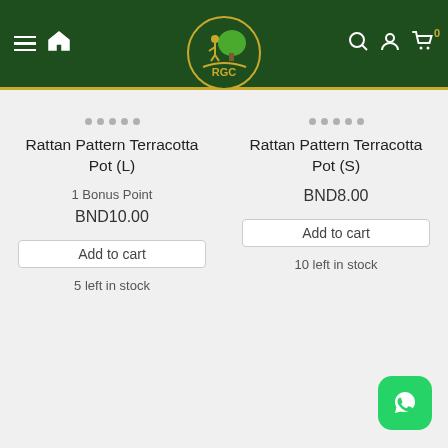[Figure (screenshot): RGC e-commerce website header with dark green background, hamburger menu, home icon, RGC logo in center, search, account, and cart icons on the right]
Rattan Pattern Terracotta Pot (L)
1 Bonus Point
BND10.00
Add to cart
5 left in stock
Rattan Pattern Terracotta Pot (S)
BND8.00
Add to cart
10 left in stock